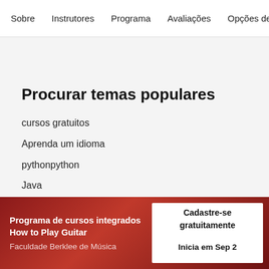Sobre   Instrutores   Programa   Avaliações   Opções de i
Procurar temas populares
cursos gratuitos
Aprenda um idioma
pythonpython
Java
web designweb design
SQL
Programa de cursos integrados How to Play Guitar
Faculdade Berklee de Música
Cadastre-se gratuitamente
Inicia em Sep 2